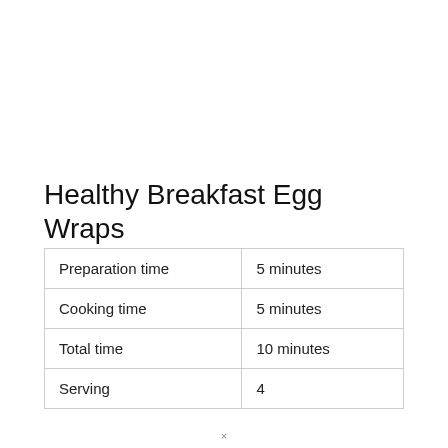Healthy Breakfast Egg Wraps
| Preparation time | 5 minutes |
| Cooking time | 5 minutes |
| Total time | 10 minutes |
| Serving | 4 |